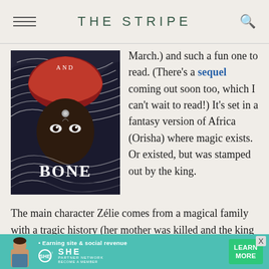THE STRIPE
[Figure (photo): Book cover for 'Children of Blood and Bone' showing a dark fantasy figure with red hood and dramatic styling]
March.) and such a fun one to read. (There's a sequel coming out soon too, which I can't wait to read!) It's set in a fantasy version of Africa (Orisha) where magic exists. Or existed, but was stamped out by the king. The main character Zélie comes from a magical family with a tragic history (her mother was killed and the king has taken everything they have). Then, an artifact (that could bring magic back to Orisha) is discovered and it changes everything. Zélie suddenly has the chance to restore magic to the community and strike
[Figure (infographic): Advertisement banner for SHE Partner Network - Earning site & social revenue. Features a person photo, SHE Media logo, and LEARN MORE button on teal background.]